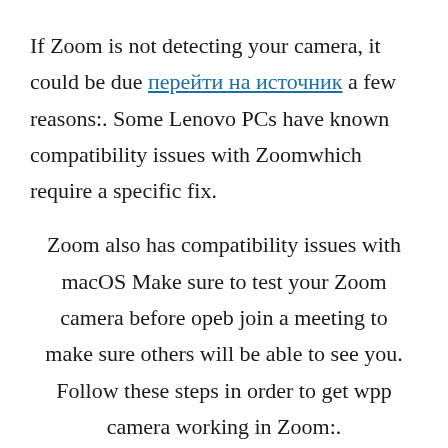If Zoom is not detecting your camera, it could be due перейти на источник a few reasons:. Some Lenovo PCs have known compatibility issues with Zoomwhich require a specific fix.
Zoom also has compatibility issues with macOS Make sure to test your Zoom camera before opeb join a meeting to make sure others will be able to see you. Follow these steps in order to get wpp camera working in Zoom:.